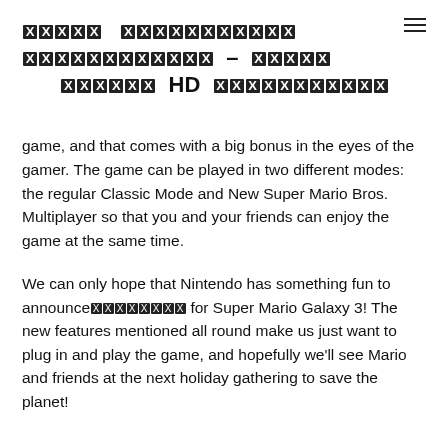█████ ████████████ ████████████ – █████ ██████ HD ███████████
game, and that comes with a big bonus in the eyes of the gamer. The game can be played in two different modes: the regular Classic Mode and New Super Mario Bros. Multiplayer so that you and your friends can enjoy the game at the same time.
We can only hope that Nintendo has something fun to announce████████ for Super Mario Galaxy 3! The new features mentioned all round make us just want to plug in and play the game, and hopefully we'll see Mario and friends at the next holiday gathering to save the planet!